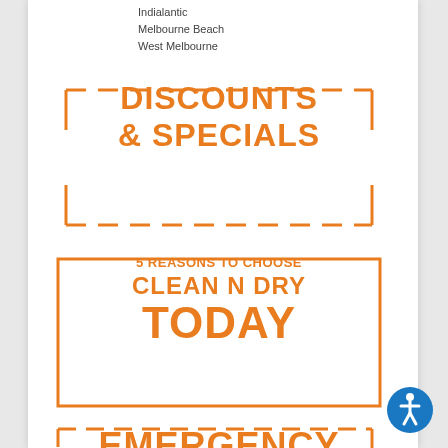Indialantic
Melbourne Beach
West Melbourne
[Figure (infographic): Orange dashed-border rectangle containing large bold orange text: DISCOUNTS & SPECIALS]
[Figure (infographic): Orange solid-border rectangle containing bold orange text: 5 REASONS TO CHOOSE CLEAN N DRY TODAY]
[Figure (infographic): Orange dashed-border rectangle (partially visible) containing large bold orange text: EMERGENCY]
[Figure (infographic): Accessibility icon: blue circle with white wheelchair user symbol, bottom right corner]